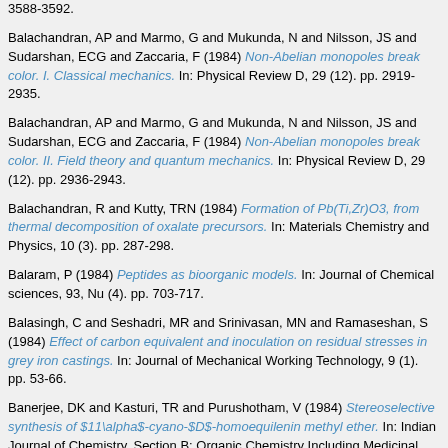3588-3592.
Balachandran, AP and Marmo, G and Mukunda, N and Nilsson, JS and Sudarshan, ECG and Zaccaria, F (1984) Non-Abelian monopoles break color. I. Classical mechanics. In: Physical Review D, 29 (12). pp. 2919-2935.
Balachandran, AP and Marmo, G and Mukunda, N and Nilsson, JS and Sudarshan, ECG and Zaccaria, F (1984) Non-Abelian monopoles break color. II. Field theory and quantum mechanics. In: Physical Review D, 29 (12). pp. 2936-2943.
Balachandran, R and Kutty, TRN (1984) Formation of Pb(Ti,Zr)O3, from thermal decomposition of oxalate precursors. In: Materials Chemistry and Physics, 10 (3). pp. 287-298.
Balaram, P (1984) Peptides as bioorganic models. In: Journal of Chemical sciences, 93, Nu (4). pp. 703-717.
Balasingh, C and Seshadri, MR and Srinivasan, MN and Ramaseshan, S (1984) Effect of carbon equivalent and inoculation on residual stresses in grey iron castings. In: Journal of Mechanical Working Technology, 9 (1). pp. 53-66.
Banerjee, DK and Kasturi, TR and Purushotham, V (1984) Stereoselective synthesis of $11\alpha$-cyano-$D$-homoequilenin methyl ether. In: Indian Journal of Chemistry, Section B: Organic Chemistry Including Medicinal Chemistry, 23 (7). pp. 595-598.
Banerjee, DK and Kasturi, TR and Purushotham, V (1984) Total syntheses of substituted hydrobenz[e]indenes and hydrophenanthrenes. In: Indian Journal of Chemistry, Section B: Organic Chemistry Including Medicinal Chemistry, 23 (5). pp. 395-411.